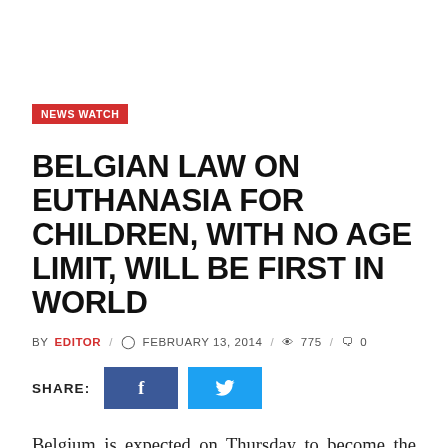NEWS WATCH
BELGIAN LAW ON EUTHANASIA FOR CHILDREN, WITH NO AGE LIMIT, WILL BE FIRST IN WORLD
BY EDITOR / FEBRUARY 13, 2014 / 775 / 0
SHARE:
Belgium is expected on Thursday to become the first country in the world to abolish all age restrictions on the right to die, extending permitted euthanasia to terminally ill children.